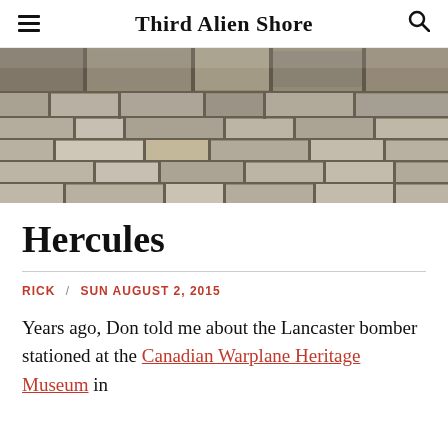Third Alien Shore
[Figure (photo): Close-up photograph of a dry stone wall with layered flat stones in shades of grey and beige, some larger rough-cut boulders at top, natural outdoor lighting.]
Hercules
RICK / SUN AUGUST 2, 2015
Years ago, Don told me about the Lancaster bomber stationed at the Canadian Warplane Heritage Museum in